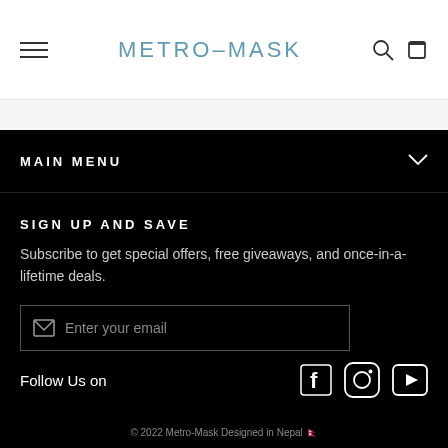METRO-MASK
MAIN MENU
SIGN UP AND SAVE
Subscribe to get special offers, free giveaways, and once-in-a-lifetime deals.
Enter your email
Follow Us on
© 2022 Metro-Mask Designed in Nepal 🇳🇵